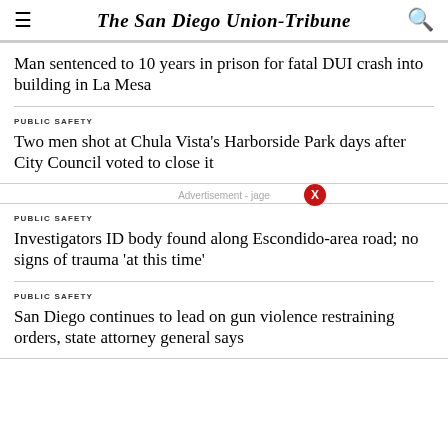The San Diego Union-Tribune
Man sentenced to 10 years in prison for fatal DUI crash into building in La Mesa
PUBLIC SAFETY
Two men shot at Chula Vista's Harborside Park days after City Council voted to close it
PUBLIC SAFETY
Investigators ID body found along Escondido-area road; no signs of trauma 'at this time'
PUBLIC SAFETY
San Diego continues to lead on gun violence restraining orders, state attorney general says